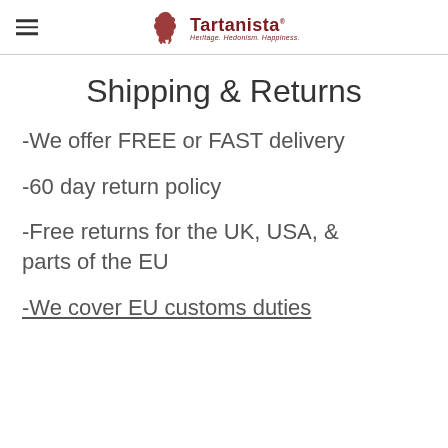Tartanista — Heritage. Hedonism. Happiness.
Shipping & Returns
-We offer FREE or FAST delivery
-60 day return policy
-Free returns for the UK, USA, & parts of the EU
-We cover EU customs duties